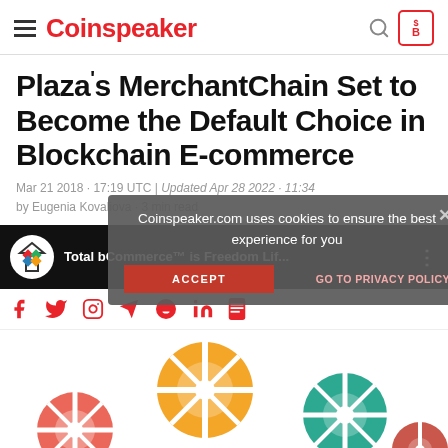Coinspeaker
Plaza's MerchantChain Set to Become the Default Choice in Blockchain E-commerce
Mar 21 2018 · 17:19 UTC | Updated Apr 28 2022 · 11:34
by Eugenia Kovaliova · 3 min read
[Figure (screenshot): Media strip showing Plaza logo and 'Total bCommerce™ is Freedom Lif...' text on dark background]
[Figure (screenshot): Social sharing bar with Facebook, Twitter, Instagram, Telegram, Reddit, LinkedIn icons in red]
[Figure (illustration): Colorful gear/cog illustration representing blockchain e-commerce machinery]
Coinspeaker.com uses cookies to ensure the best experience for you